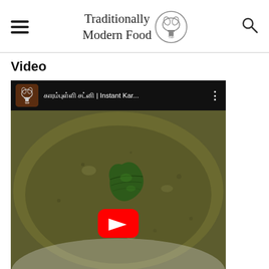Traditionally Modern Food
Video
[Figure (screenshot): YouTube video thumbnail showing a bowl of dark green/brown curry with a curry leaf on top and a YouTube play button overlay. The video title bar shows the TMF channel logo and title text including Tamil characters and 'Instant Kar...']